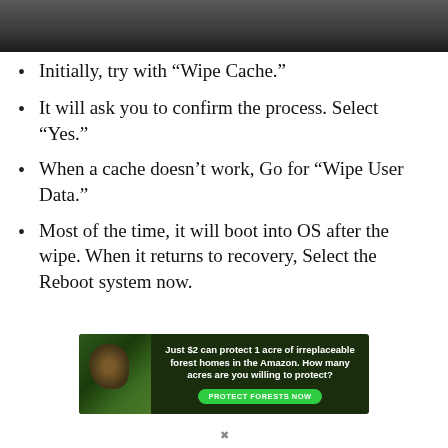[Figure (photo): Dark banner image at top of page, appears to be a dimly lit photograph]
Initially, try with “Wipe Cache.”
It will ask you to confirm the process. Select “Yes.”
When a cache doesn’t work, Go for “Wipe User Data.”
Most of the time, it will boot into OS after the wipe. When it returns to recovery, Select the Reboot system now.
[Figure (photo): Advertisement banner: forest/Amazon conservation ad showing orangutan. Text: 'Just $2 can protect 1 acre of irreplaceable forest homes in the Amazon. How many acres are you willing to protect?' with green button 'PROTECT FORESTS NOW']